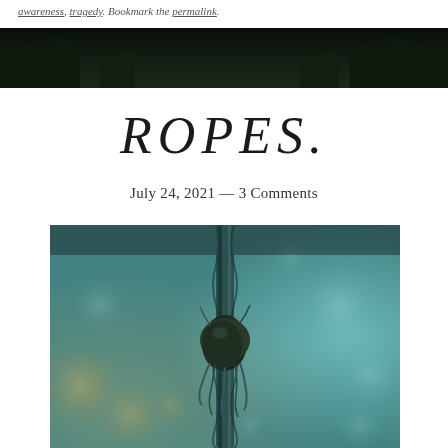awareness, tragedy. Bookmark the permalink.
[Figure (photo): Dark banner image showing treetops against a dark sky]
ROPES.
July 24, 2021 — 3 Comments
[Figure (photo): Close-up photograph of a rope with a knot against a blurred teal/bokeh background]